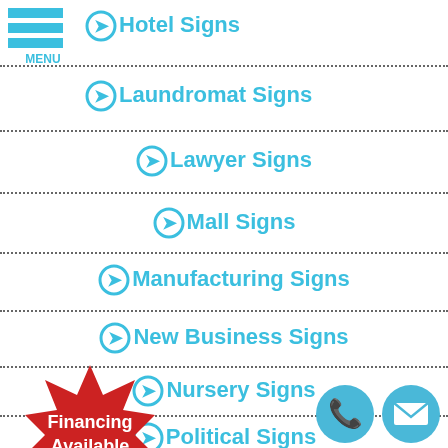[Figure (logo): Hamburger menu icon with three blue horizontal bars and MENU text]
Hotel Signs
Laundromat Signs
Lawyer Signs
Mall Signs
Manufacturing Signs
New Business Signs
Nursery Signs
Political Signs
Property Management Signs
[Figure (infographic): Red starburst badge with white text 'Financing Available']
[Figure (infographic): Two blue circular icons: phone and envelope at bottom right]